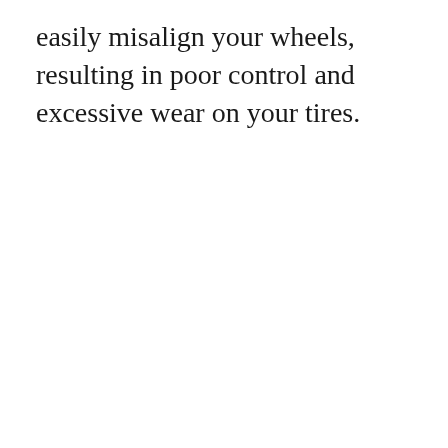easily misalign your wheels, resulting in poor control and excessive wear on your tires.